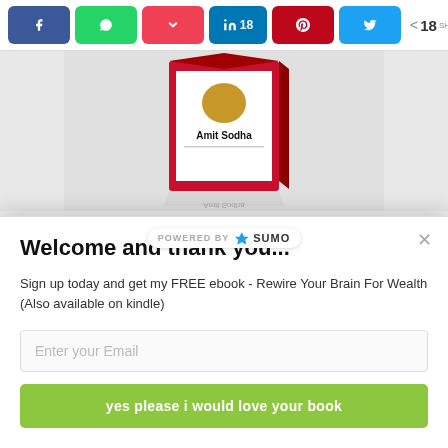[Figure (screenshot): Social share buttons bar: Facebook (blue), WhatsApp (green), Pocket (red), LinkedIn (blue, 18 count), Pinterest (red), Twitter (blue), and total 18 SHARES count]
[Figure (photo): Book box cover showing 'Amit Sodha' text, with reflection below on grey background]
CATEGORIES
[Figure (screenshot): Powered by SUMO badge in white pill shape]
[Figure (screenshot): Select Category dropdown with chevron]
Welcome and thank you...
Sign up today and get my FREE ebook - Rewire Your Brain For Wealth (Also available on kindle)
Enter your Email
yes please i would love your book